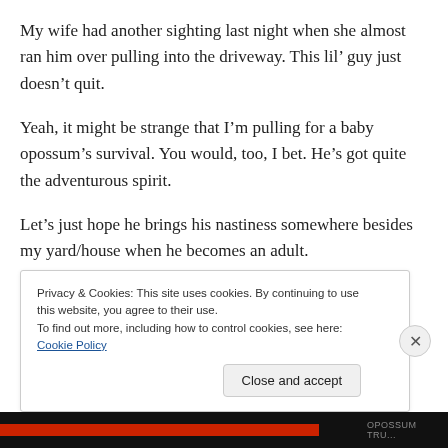My wife had another sighting last night when she almost ran him over pulling into the driveway. This lil’ guy just doesn’t quit.
Yeah, it might be strange that I’m pulling for a baby opossum’s survival. You would, too, I bet. He’s got quite the adventurous spirit.
Let’s just hope he brings his nastiness somewhere besides my yard/house when he becomes an adult.
Privacy & Cookies: This site uses cookies. By continuing to use this website, you agree to their use. To find out more, including how to control cookies, see here: Cookie Policy
Close and accept